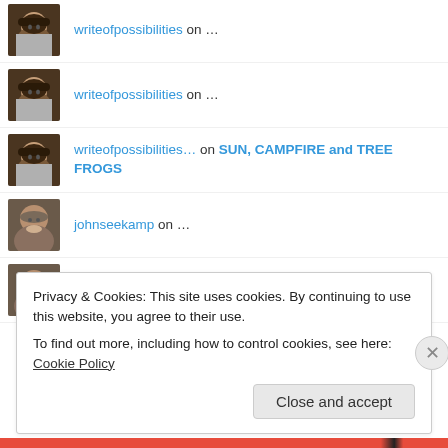writeofpossibilities on …
writeofpossibilities on …
writeofpossibilities… on SUN, CAMPFIRE and TREE FROGS
johnseekamp on …
johnseekamp on …
Privacy & Cookies: This site uses cookies. By continuing to use this website, you agree to their use. To find out more, including how to control cookies, see here: Cookie Policy
Close and accept